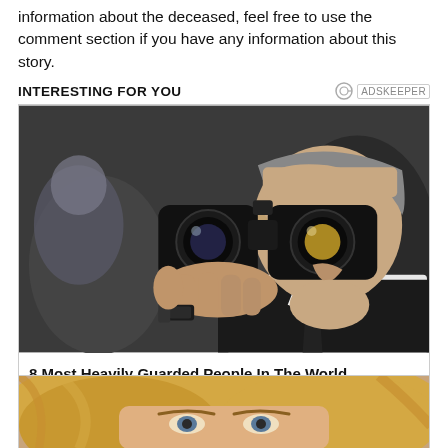information about the deceased, feel free to use the comment section if you have any information about this story.
INTERESTING FOR YOU
[Figure (photo): Person looking through binoculars, close-up photo]
8 Most Heavily Guarded People In The World
[Figure (photo): Close-up photo of a person with blonde hair]